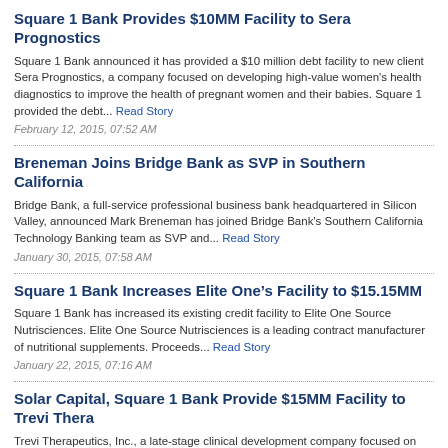Square 1 Bank Provides $10MM Facility to Sera Prognostics
Square 1 Bank announced it has provided a $10 million debt facility to new client Sera Prognostics, a company focused on developing high-value women's health diagnostics to improve the health of pregnant women and their babies. Square 1 provided the debt... Read Story
February 12, 2015, 07:52 AM
Breneman Joins Bridge Bank as SVP in Southern California
Bridge Bank, a full-service professional business bank headquartered in Silicon Valley, announced Mark Breneman has joined Bridge Bank's Southern California Technology Banking team as SVP and... Read Story
January 30, 2015, 07:58 AM
Square 1 Bank Increases Elite One’s Facility to $15.15MM
Square 1 Bank has increased its existing credit facility to Elite One Source Nutrisciences. Elite One Source Nutrisciences is a leading contract manufacturer of nutritional supplements. Proceeds... Read Story
January 22, 2015, 07:16 AM
Solar Capital, Square 1 Bank Provide $15MM Facility to Trevi Thera
Trevi Therapeutics, Inc., a late-stage clinical development company focused on developing treatments for pruritus conditions, announced the closing of a $15 million senior secured term loan from Solar Capital Ltd. as... Read Story